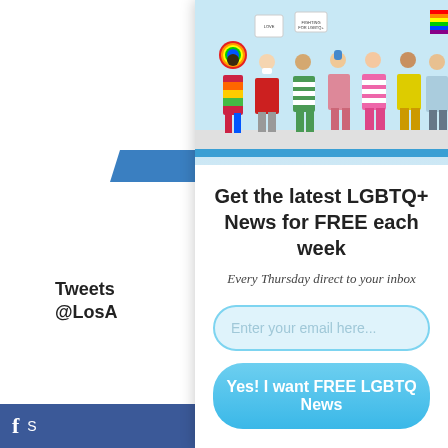[Figure (photo): Group of diverse people in colorful LGBTQ+ pride outfits holding signs and rainbow flags, jumping and celebrating]
Tweets
@LosA
[Figure (logo): blade newspaper logo]
Get the latest LGBTQ+ News for FREE each week
Every Thursday direct to your inbox
Enter your email here...
Yes! I want FREE LGBTQ News
S